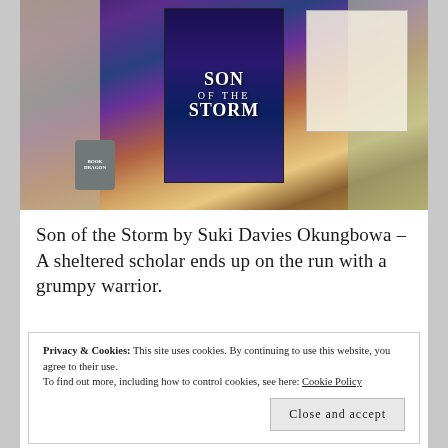[Figure (photo): Flat-lay photo of the book 'Son of the Storm' by Suyi Davies Okungbowa surrounded by jewelry, a 'Book Dragon' candle jar, an open book, and golden decorative items on a white lace surface.]
Son of the Storm by Suki Davies Okungbowa – A sheltered scholar ends up on the run with a grumpy warrior.
Privacy & Cookies: This site uses cookies. By continuing to use this website, you agree to their use.
To find out more, including how to control cookies, see here: Cookie Policy
Close and accept